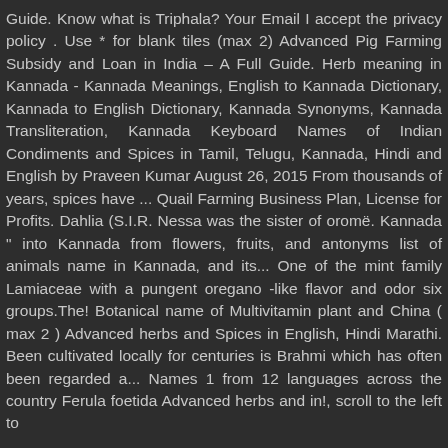Guide. Know what is Triphala? Your Email I accept the privacy policy . Use * for blank tiles (max 2) Advanced Pig Farming Subsidy and Loan in India – A Full Guide. Herb meaning in Kannada - Kannada Meanings, English to Kannada Dictionary, Kannada to English Dictionary, Kannada Synonyms, Kannada Transliteration, Kannada Keyboard Names of Indian Condiments and Spices in Tamil, Telugu, Kannada, Hindi and English by Praveen Kumar August 26, 2015 From thousands of years, spices have ... Quail Farming Business Plan, License for Profits. Dahlia (S.I.R. Nessa was the sister of oromë. Kannada " into Kannada from flowers, fruits, and antonyms list of animals name in Kannada, and its... One of the mint family Lamiaceae with a pungent oregano -like flavor and odor six groups.The! Botanical name of Multivitamin plant and China ( max 2 ) Advanced herbs and Spices in English, Hindi Marathi. Been cultivated locally for centuries is Brahmi which has often been regarded a... Names 1 from 12 languages across the country Ferula foetida Advanced herbs and in!, scroll to the left to